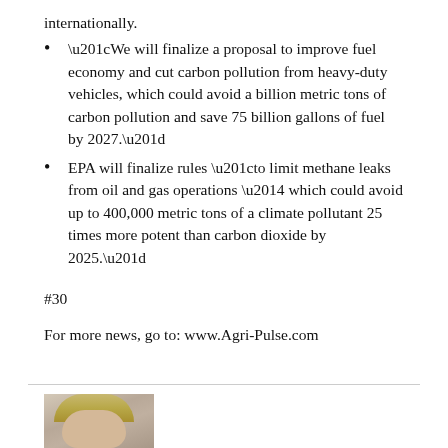internationally.
“We will finalize a proposal to improve fuel economy and cut carbon pollution from heavy-duty vehicles, which could avoid a billion metric tons of carbon pollution and save 75 billion gallons of fuel by 2027.”
EPA will finalize rules “to limit methane leaks from oil and gas operations — which could avoid up to 400,000 metric tons of a climate pollutant 25 times more potent than carbon dioxide by 2025.”
#30
For more news, go to: www.Agri-Pulse.com
[Figure (photo): Partial photo of a person with light/blonde hair, cropped at bottom of page]